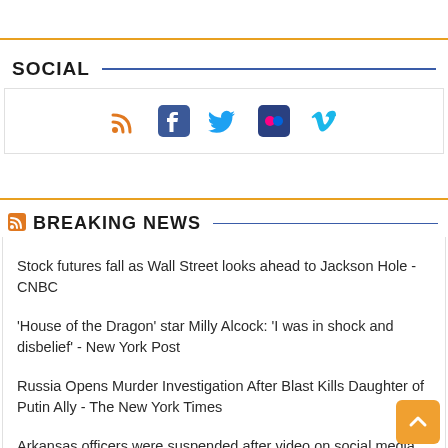SOCIAL
[Figure (infographic): Social media icons: RSS (orange), Facebook (dark blue), Twitter (light blue), Flickr (dark blue), Vimeo (light blue)]
BREAKING NEWS
Stock futures fall as Wall Street looks ahead to Jackson Hole - CNBC
'House of the Dragon' star Milly Alcock: 'I was in shock and disbelief' - New York Post
Russia Opens Murder Investigation After Blast Kills Daughter of Putin Ally - The New York Times
Arkansas officers were suspended after video on social media shows a police beating - NPR
Body, car found in Prosser Lake near where 16-year-old Kiely Rodni